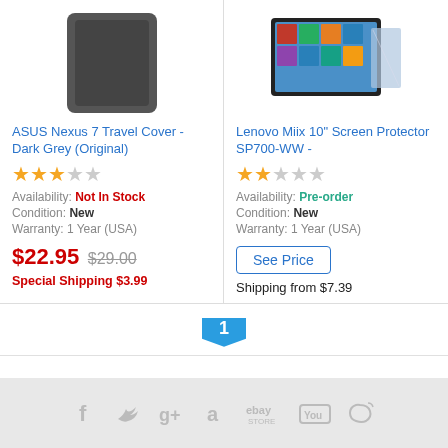[Figure (photo): Dark grey tablet/phone case product image - ASUS Nexus 7 Travel Cover]
ASUS Nexus 7 Travel Cover - Dark Grey (Original)
[Figure (other): 3 out of 5 orange stars rating]
Availability: Not In Stock
Condition: New
Warranty: 1 Year (USA)
$22.95 $29.00
Special Shipping $3.99
[Figure (photo): Lenovo tablet product image with Windows 8 screen and screen protector accessory]
Lenovo Miix 10" Screen Protector SP700-WW -
[Figure (other): 2.5 out of 5 orange stars rating]
Availability: Pre-order
Condition: New
Warranty: 1 Year (USA)
See Price
Shipping from $7.39
1
[Figure (other): Social media icons: Facebook, Twitter, Google+, Amazon, eBay Store, YouTube, Weibo]